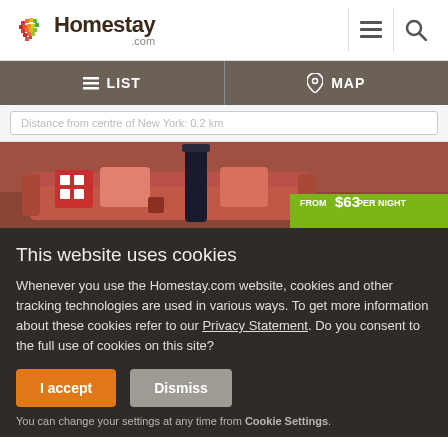Homestay .com
LIST  MAP
Distance from centre of New York: 0.2 km
[Figure (photo): Interior photo of a living room with red/coral sofa and decorative pillows with a price badge showing FROM $63 PER NIGHT]
This website uses cookies
Whenever you use the Homestay.com website, cookies and other tracking technologies are used in various ways. To get more information about these cookies refer to our Privacy Statement. Do you consent to the full use of cookies on this site?
I accept   Dismiss
You can change your settings at any time from Cookie Settings.